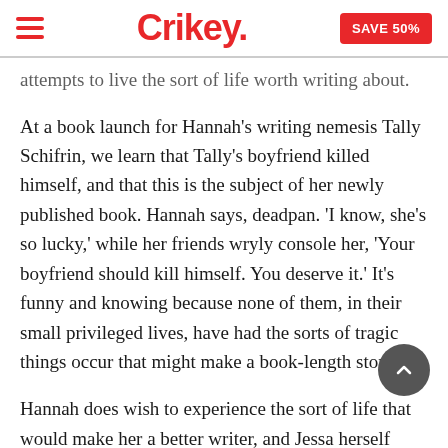Crikey.
attempts to live the sort of life worth writing about.
At a book launch for Hannah's writing nemesis Tally Schifrin, we learn that Tally's boyfriend killed himself, and that this is the subject of her newly published book. Hannah says, deadpan. 'I know, she's so lucky,' while her friends wryly console her, 'Your boyfriend should kill himself. You deserve it.' It's funny and knowing because none of them, in their small privileged lives, have had the sorts of tragic things occur that might make a book-length story yet.
Hannah does wish to experience the sort of life that would make her a better writer, and Jessa herself advises, after Hannah has explained her boss' sexual